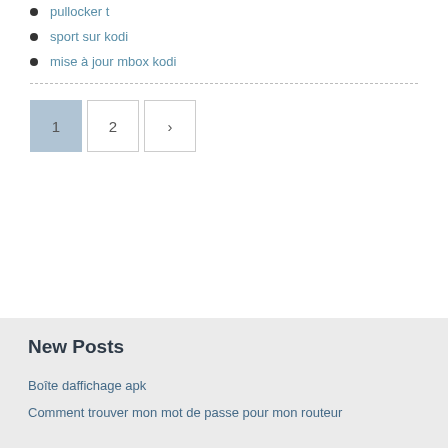pullocker t
sport sur kodi
mise à jour mbox kodi
Pagination: 1, 2, >
New Posts
Boîte daffichage apk
Comment trouver mon mot de passe pour mon routeur